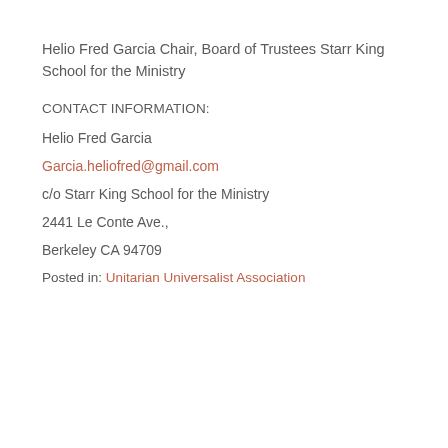Helio Fred Garcia Chair, Board of Trustees Starr King School for the Ministry
CONTACT INFORMATION:
Helio Fred Garcia
Garcia.heliofred@gmail.com
c/o Starr King School for the Ministry
2441 Le Conte Ave.,
Berkeley CA 94709
Posted in: Unitarian Universalist Association